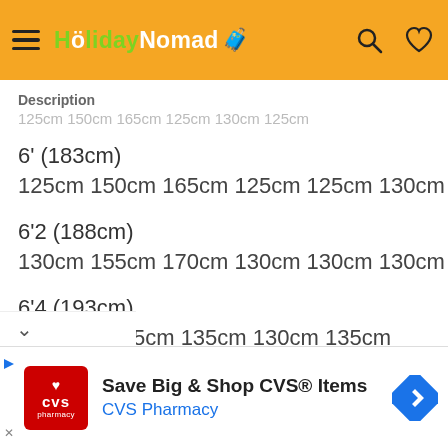HolidayNomad [logo/navigation bar]
Description
125cm 150cm 165cm 125cm 130cm 125cm (faded/background)
6' (183cm)
125cm 150cm 165cm 125cm 125cm 130cm
6'2 (188cm)
130cm 155cm 170cm 130cm 130cm 130cm
6'4 (193cm)
a 160cm 175cm 135cm 130cm 135cm
[Figure (screenshot): CVS Pharmacy advertisement banner: Save Big & Shop CVS® Items]